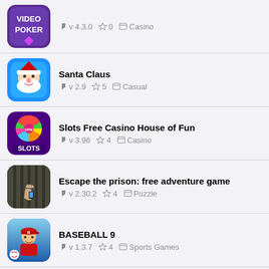Video Poker v 4.3.0  0  Casino
Santa Claus v 2.9  5  Casual
Slots Free Casino House of Fun v 3.96  4  Casino
Escape the prison: free adventure game v 2.30.2  4  Puzzle
BASEBALL 9 v 1.3.7  4  Sports Games
My Boy! Free – GBA Emulator v 1.8.0.1  4  Arcade
It Sort Ball 3D (partial)